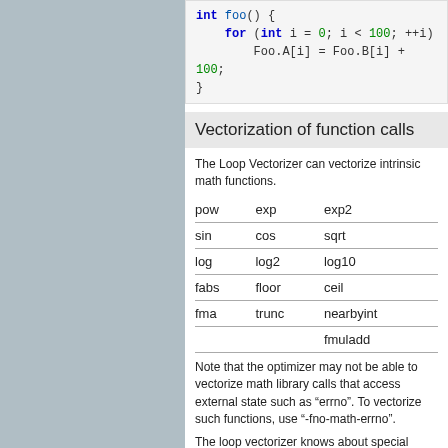[Figure (screenshot): Code block showing C++ function with for loop: int foo() { for (int i = 0; i < 100; ++i) Foo.A[i] = Foo.B[i] + 100; }]
Vectorization of function calls
The Loop Vectorizer can vectorize intrinsic math functions.
| pow | exp | exp2 |
| sin | cos | sqrt |
| log | log2 | log10 |
| fabs | floor | ceil |
| fma | trunc | nearbyint |
|  |  | fmuladd |
Note that the optimizer may not be able to vectorize math library calls that access external state such as "errno". To vectorize such functions, use "-fno-math-errno".
The loop vectorizer knows about special instructions on the target and will call that maps to the instructions. For example, the loop vectorizer will use the roundps instruction is available.